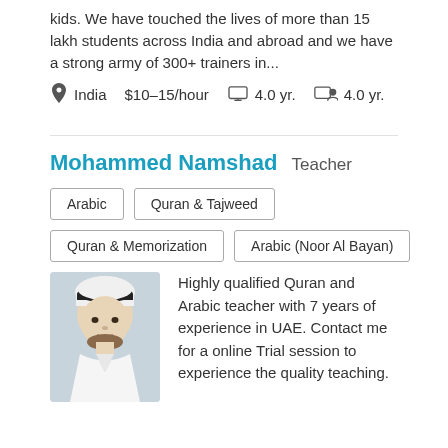kids. We have touched the lives of more than 15 lakh students across India and abroad and we have a strong army of 300+ trainers in...
India  $10–15/hour  4.0 yr.  4.0 yr.
Mohammed Namshad  Teacher
Arabic
Quran & Tajweed
Quran & Memorization
Arabic (Noor Al Bayan)
Highly qualified Quran and Arabic teacher with 7 years of experience in UAE. Contact me for a online Trial session to experience the quality teaching.